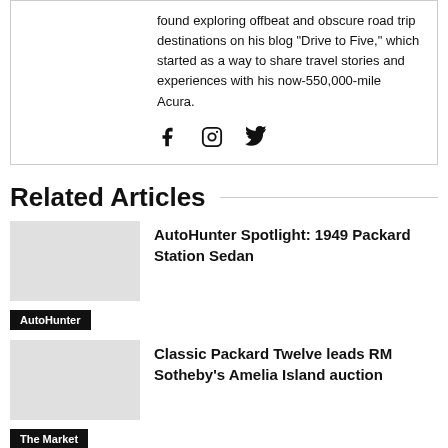found exploring offbeat and obscure road trip destinations on his blog "Drive to Five," which started as a way to share travel stories and experiences with his now-550,000-mile Acura.
[Figure (other): Social media icons: Facebook, Instagram, Twitter]
Related Articles
AutoHunter Spotlight: 1949 Packard Station Sedan
AutoHunter
Classic Packard Twelve leads RM Sotheby's Amelia Island auction
The Market